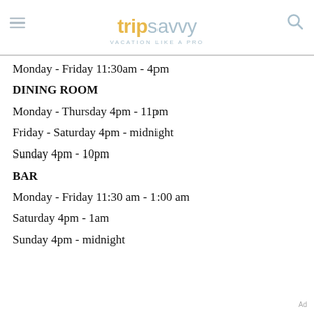tripsavvy VACATION LIKE A PRO
Monday - Friday 11:30am - 4pm
DINING ROOM
Monday - Thursday 4pm - 11pm
Friday - Saturday 4pm - midnight
Sunday 4pm - 10pm
BAR
Monday - Friday 11:30 am - 1:00 am
Saturday 4pm - 1am
Sunday 4pm - midnight
Ad